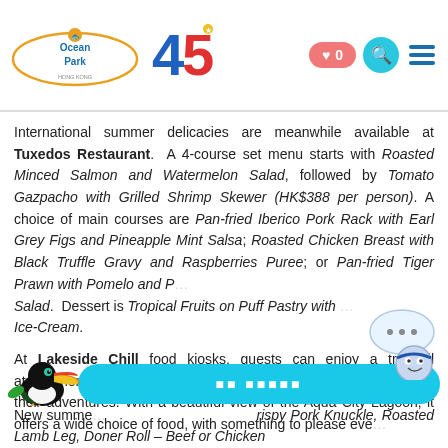Ocean Park 45th Anniversary - Navigation bar with heart (0), search, and menu icons
International summer delicacies are meanwhile available at Tuxedos Restaurant. A 4-course set menu starts with Roasted Minced Salmon and Watermelon Salad, followed by Tomato Gazpacho with Grilled Shrimp Skewer (HK$388 per person). A choice of main courses are Pan-fried Iberico Pork Rack with Earl Grey Figs and Pineapple Mint Salsa; Roasted Chicken Breast with Black Truffle Gravy and Raspberries Puree; or Pan-fried Tiger Prawn with Pomelo and R... Salad. Dessert is Tropical Fruits on Puff Pastry with ... Ice-Cream.
At Lakeside Chill food kiosks, guests can enjoy a tranquil atmosphere to sit back, unwind and take a refreshing break from their adventures. With a beautiful view of the Aqua City Lagoon, it offers a wide choice of food, with something to please eve...
New summe... ... ...rispy Pork Knuckle, Roasted Lamb Leg, Doner Roll - Beef or Chicken